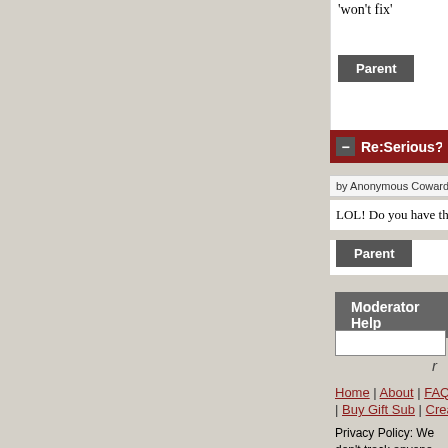'won't fix'
Parent
Re:Serious? (Score: 0)
by Anonymous Coward on Monday Decemb...
LOL! Do you have the bug number fo...
Parent
Moderator Help
Search
Home | About | FAQ | Journals | Topics | | Buy Gift Sub | Create Accoun...
Privacy Policy: We don't track anyone except on... relevant and are ignored. We don't collect any p... you except your email address, which: you can c... in the first place, is only used to contact you if n... with nobody.